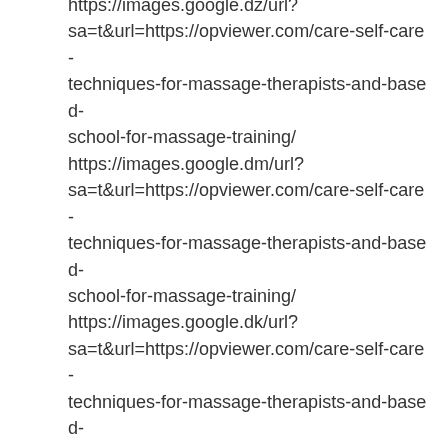https://images.google.dz/url?sa=t&url=https://opviewer.com/care-self-care-techniques-for-massage-therapists-and-based-school-for-massage-training/ https://images.google.dm/url?sa=t&url=https://opviewer.com/care-self-care-techniques-for-massage-therapists-and-based-school-for-massage-training/ https://images.google.dk/url?sa=t&url=https://opviewer.com/care-self-care-techniques-for-massage-therapists-and-based-school-for-massage-training/ https://images.google.dj/url?sa=t&url=https://opviewer.com/care-self-care-techniques-for-massage-therapists-and-based-school-for-massage-training/ https://images.google.de/url?sa=t&url=https://opviewer.com/care-self-care-techniques-for-massage-therapists-and-based-school-for-massage-training/ https://images.google.cz/url?